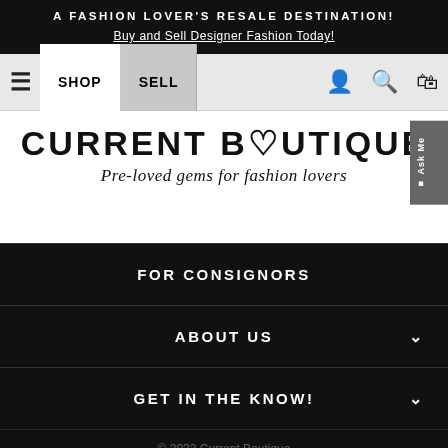A FASHION LOVER'S RESALE DESTINATION! Buy and Sell Designer Fashion Today!
[Figure (screenshot): Navigation bar with hamburger menu, SHOP and SELL buttons, user icon, search icon, and shopping bag icon]
[Figure (logo): Current Boutique logo with tagline 'Pre-loved gems for fashion lovers']
FOR CONSIGNORS
ABOUT US
GET IN THE KNOW!
© 2022 Current Boutique